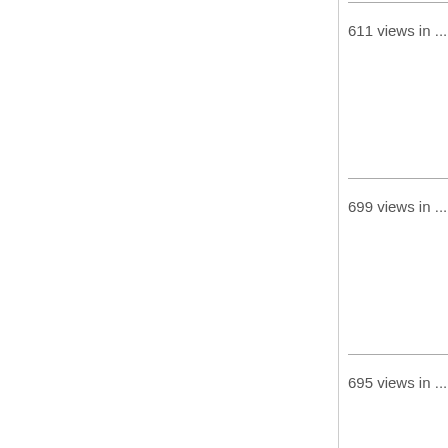611 views in ...
699 views in ...
695 views in ...
644 views in ...
663 views in ...
822 views in ...